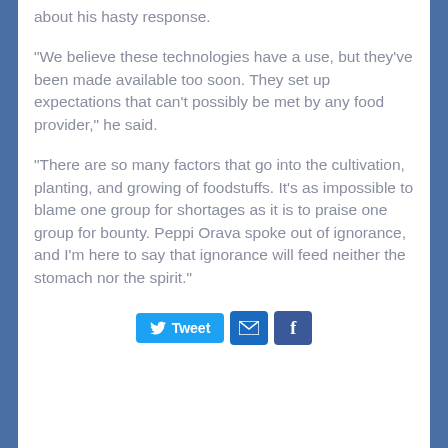about his hasty response.
"We believe these technologies have a use, but they've been made available too soon. They set up expectations that can't possibly be met by any food provider," he said.
"There are so many factors that go into the cultivation, planting, and growing of foodstuffs. It's as impossible to blame one group for shortages as it is to praise one group for bounty. Peppi Orava spoke out of ignorance, and I'm here to say that ignorance will feed neither the stomach nor the spirit."
[Figure (infographic): Social sharing buttons: Tweet (Twitter/blue), Email (envelope icon/blue), Facebook (f logo/dark blue)]